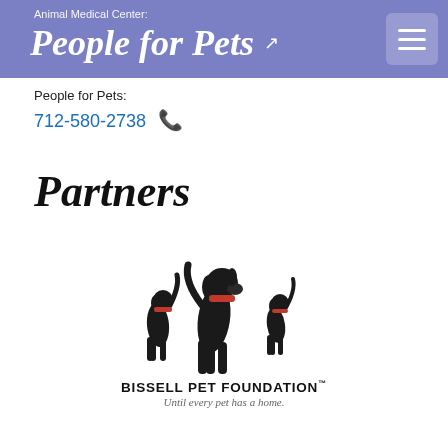Animal Medical Center: People for Pets
People for Pets:
712-580-2738
Partners
[Figure (logo): Bissell Pet Foundation logo with three black dog silhouettes and text 'BISSELL PET FOUNDATION™ Until every pet has a home.']